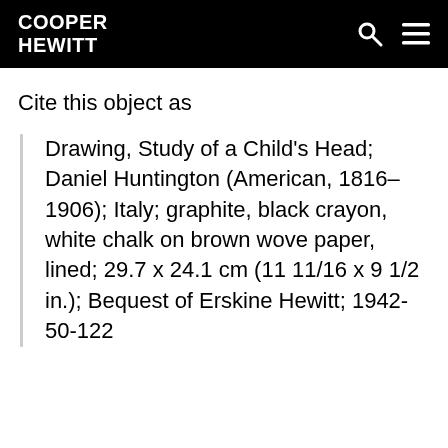COOPER HEWITT
Cite this object as
Drawing, Study of a Child's Head; Daniel Huntington (American, 1816–1906); Italy; graphite, black crayon, white chalk on brown wove paper, lined; 29.7 x 24.1 cm (11 11/16 x 9 1/2 in.); Bequest of Erskine Hewitt; 1942-50-122